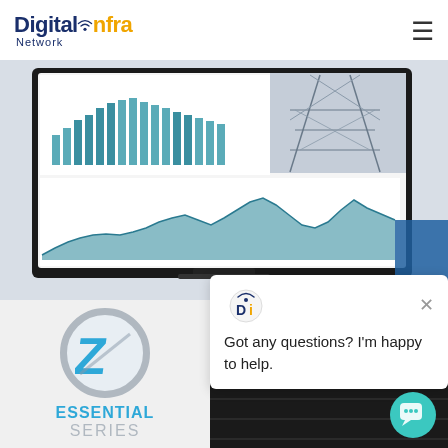Digital Infra Network
[Figure (screenshot): Screenshot of a monitor displaying a data analytics dashboard with bar charts showing capacity/usage metrics and an area/line chart below, alongside an image of an electrical transmission tower structure]
[Figure (logo): Zigbee/Z-Wave circular logo with stylized Z, below reads ESSENTIAL SERIES]
[Figure (photo): Dark server rack equipment photo]
[Figure (infographic): Chat popup widget with DI logo icon showing message: Got any questions? I'm happy to help.]
[Figure (other): Teal chat bubble button icon in bottom right corner]